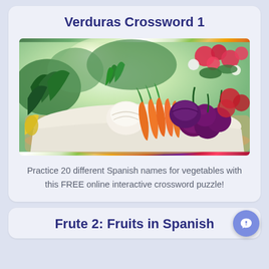Verduras Crossword 1
[Figure (photo): A basket or tray filled with fresh vegetables including carrots, onions, beets/red beetroots, green leafy vegetables, and flowers in the background with a bright garden setting]
Practice 20 different Spanish names for vegetables with this FREE online interactive crossword puzzle!
Frute 2: Fruits in Spanish